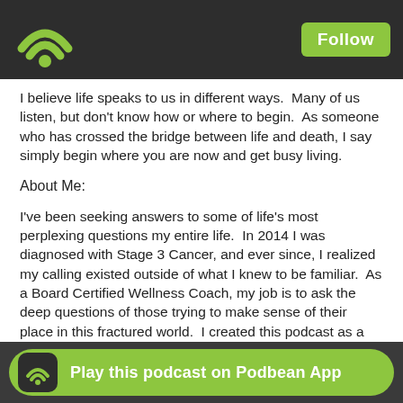[Figure (logo): Podbean WiFi/podcast logo in green on dark header bar with Follow button]
I believe life speaks to us in different ways.  Many of us listen, but don't know how or where to begin.  As someone who has crossed the bridge between life and death, I say simply begin where you are now and get busy living.
About Me:
I've been seeking answers to some of life's most perplexing questions my entire life.  In 2014 I was diagnosed with Stage 3 Cancer, and ever since, I realized my calling existed outside of what I knew to be familiar.  As a Board Certified Wellness Coach, my job is to ask the deep questions of those trying to make sense of their place in this fractured world.  I created this podcast as a home for survivors like myself, and those who are searching to find meaning in the "why?"
For 1-on-1 private coaching from Savio:
www.thehumanresolve.com
Receive Daily Prompts to move you in the right direction synced directly to y
www.theh
[Figure (screenshot): Play this podcast on Podbean App banner at bottom]